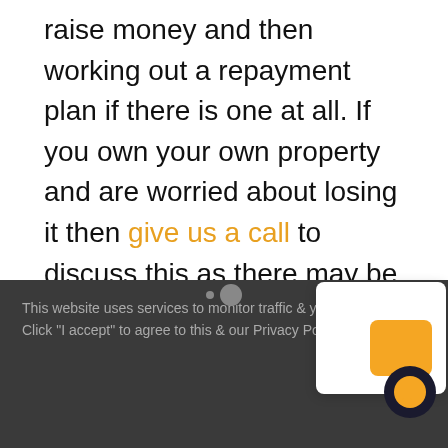raise money and then working out a repayment plan if there is one at all. If you own your own property and are worried about losing it then give us a call to discuss this as there may be other options open to you.
The main point to note here is that once you have started the Sequestration process and your trustee is working on your behalf you can ignore any further calls asking you to make payments. Your trustee must
This website uses services to monitor traffic & your interactions. Click "I accept" to agree to this & our Privacy Policy.